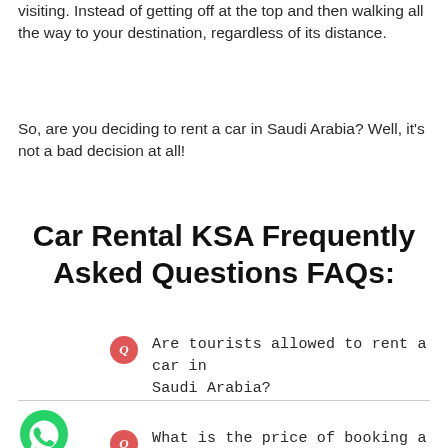visiting. Instead of getting off at the top and then walking all the way to your destination, regardless of its distance.
So, are you deciding to rent a car in Saudi Arabia? Well, it's not a bad decision at all!
Car Rental KSA Frequently Asked Questions FAQs:
Q  Are tourists allowed to rent a car in Saudi Arabia?
[Figure (logo): WhatsApp green phone icon]
Q  What is the price of booking a car